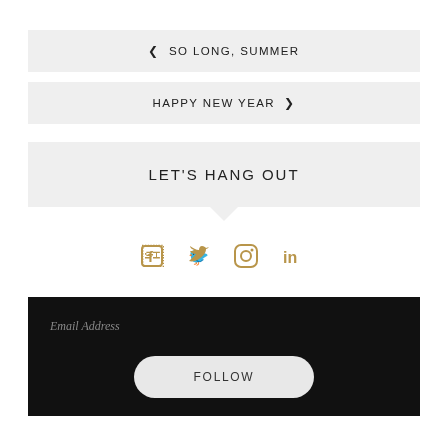< SO LONG, SUMMER
HAPPY NEW YEAR >
LET'S HANG OUT
[Figure (infographic): Four social media icons in gold/tan color: Facebook, Twitter, Instagram, LinkedIn]
Email Address
FOLLOW